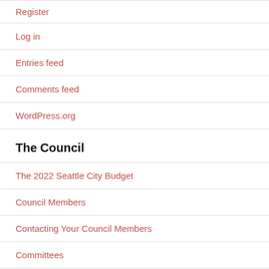Register
Log in
Entries feed
Comments feed
WordPress.org
The Council
The 2022 Seattle City Budget
Council Members
Contacting Your Council Members
Committees